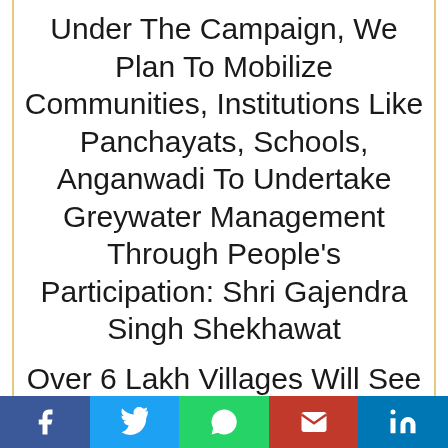Under The Campaign, We Plan To Mobilize Communities, Institutions Like Panchayats, Schools, Anganwadi To Undertake Greywater Management Through People’s Participation: Shri Gajendra Singh Shekhawat
Over 6 Lakh Villages Will See Intense Activity On
[Figure (infographic): Social media sharing bar with Facebook, Twitter, WhatsApp, Email, and LinkedIn buttons]